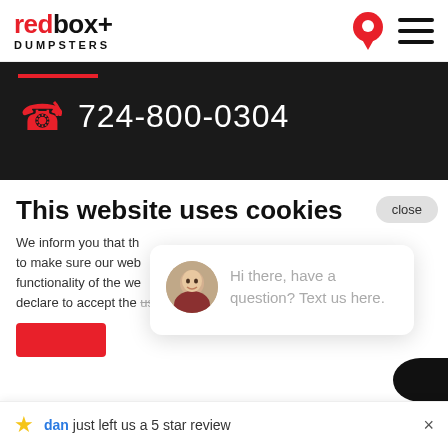[Figure (logo): redbox+ DUMPSTERS logo in red and black, with location pin icon and hamburger menu icon on the right]
724-800-0304
This website uses cookies
We inform you that th... to make sure our web... functionality of the we... declare to accept the use of cookies.
[Figure (photo): Chat popup with a woman avatar photo and text: Hi there, have a question? Text us here.]
dan just left us a 5 star review